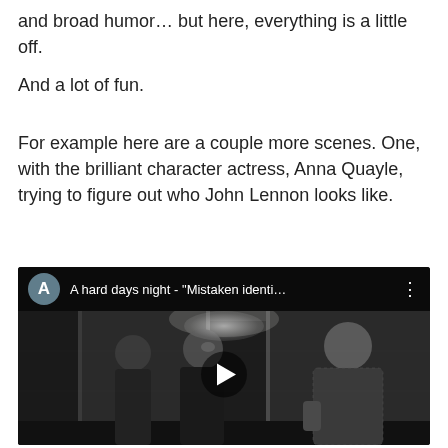and broad humor… but here, everything is a little off.
And a lot of fun.
For example here are a couple more scenes. One, with the brilliant character actress, Anna Quayle, trying to figure out who John Lennon looks like.
[Figure (screenshot): Embedded YouTube video thumbnail showing a black and white scene from 'A Hard Day's Night' with the title 'A hard days night - "Mistaken identi…' and a play button overlay. Shows two figures facing a woman in a corridor.]